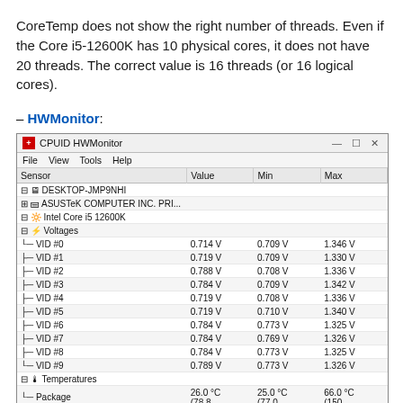CoreTemp does not show the right number of threads. Even if the Core i5-12600K has 10 physical cores, it does not have 20 threads. The correct value is 16 threads (or 16 logical cores).
– HWMonitor:
[Figure (screenshot): Screenshot of CPUID HWMonitor application showing sensor readings for DESKTOP-JMP9NHI system with Intel Core i5 12600K. Displays Voltages section with VID #0 through VID #9 and Temperatures section with Package, Core #0 through Core #4 readings including Value, Min, and Max columns.]